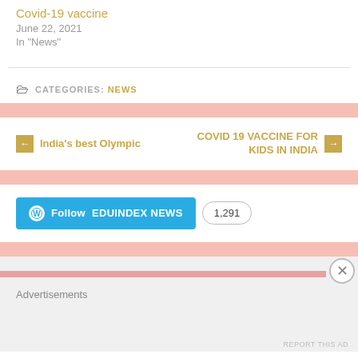Covid-19 vaccine
June 22, 2021
In "News"
CATEGORIES: NEWS
← India's best Olympic
COVID 19 VACCINE FOR KIDS IN INDIA →
Follow EDUINDEX NEWS  1,291
Advertisements
REPORT THIS AD